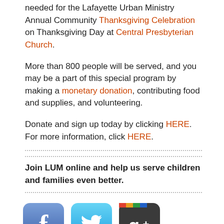needed for the Lafayette Urban Ministry Annual Community Thanksgiving Celebration on Thanksgiving Day at Central Presbyterian Church.
More than 800 people will be served, and you may be a part of this special program by making a monetary donation, contributing food and supplies, and volunteering.
Donate and sign up today by clicking HERE. For more information, click HERE.
Join LUM online and help us serve children and families even better.
[Figure (illustration): Social media icons: Facebook, Twitter, Google+]